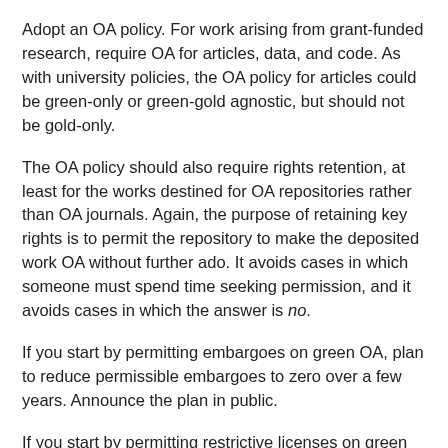Adopt an OA policy. For work arising from grant-funded research, require OA for articles, data, and code. As with university policies, the OA policy for articles could be green-only or green-gold agnostic, but should not be gold-only.
The OA policy should also require rights retention, at least for the works destined for OA repositories rather than OA journals. Again, the purpose of retaining key rights is to permit the repository to make the deposited work OA without further ado. It avoids cases in which someone must spend time seeking permission, and it avoids cases in which the answer is no.
If you start by permitting embargoes on green OA, plan to reduce permissible embargoes to zero over a few years. Announce the plan in public.
If you start by permitting restrictive licenses on green or gold OA, plan to require CC-BY after a few years. Announce the plan in public.